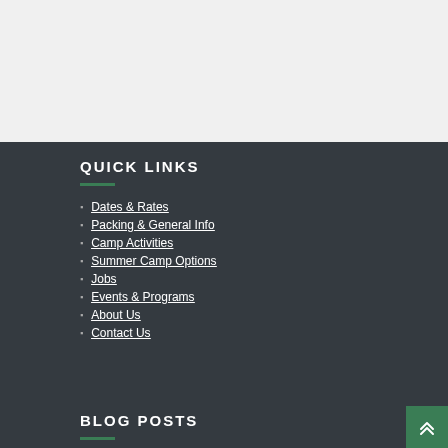QUICK LINKS
Dates & Rates
Packing & General Info
Camp Activities
Summer Camp Options
Jobs
Events & Programs
About Us
Contact Us
BLOG POSTS